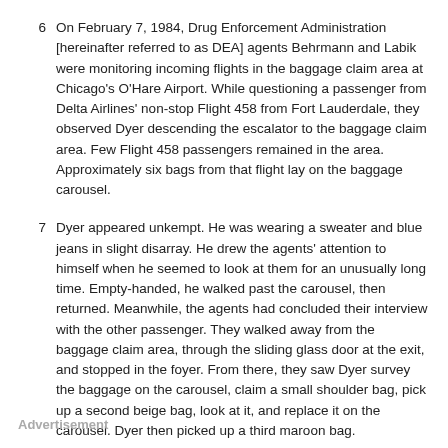6  On February 7, 1984, Drug Enforcement Administration [hereinafter referred to as DEA] agents Behrmann and Labik were monitoring incoming flights in the baggage claim area at Chicago's O'Hare Airport. While questioning a passenger from Delta Airlines' non-stop Flight 458 from Fort Lauderdale, they observed Dyer descending the escalator to the baggage claim area. Few Flight 458 passengers remained in the area. Approximately six bags from that flight lay on the baggage carousel.
7  Dyer appeared unkempt. He was wearing a sweater and blue jeans in slight disarray. He drew the agents' attention to himself when he seemed to look at them for an unusually long time. Empty-handed, he walked past the carousel, then returned. Meanwhile, the agents had concluded their interview with the other passenger. They walked away from the baggage claim area, through the sliding glass door at the exit, and stopped in the foyer. From there, they saw Dyer survey the baggage on the carousel, claim a small shoulder bag, pick up a second beige bag, look at it, and replace it on the carousel. Dyer then picked up a third maroon bag.
Advertisement